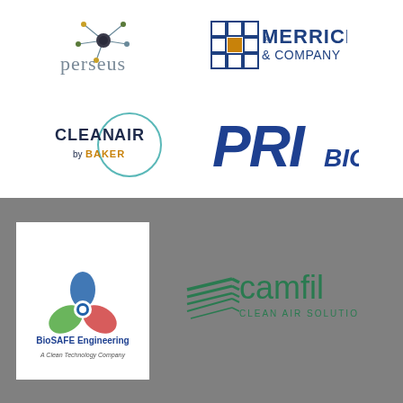[Figure (logo): Perseus logo - stylized atom/molecule graphic with 'perseus' text in grey]
[Figure (logo): MERRICK & COMPANY logo - blue grid squares with orange center square, blue text]
[Figure (logo): CleanAir by Baker logo - circle outline with text 'CLEAN AIR by BAKER']
[Figure (logo): PRIbio logo - large bold blue PRI with smaller BIO text]
[Figure (logo): BioSAFE Engineering logo - biohazard symbol with company name and tagline 'A Clean Technology Company']
[Figure (logo): Camfil Clean Air Solutions logo - green stylized wing/chevron with camfil text]